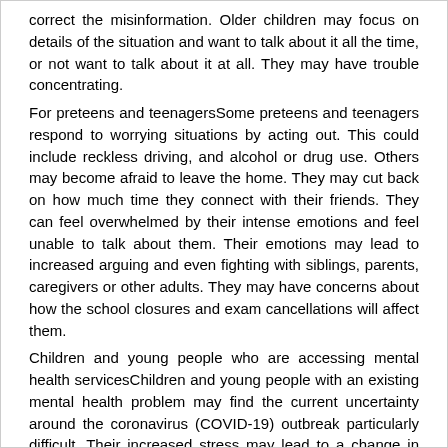correct the misinformation. Older children may focus on details of the situation and want to talk about it all the time, or not want to talk about it at all. They may have trouble concentrating.
For preteens and teenagersSome preteens and teenagers respond to worrying situations by acting out. This could include reckless driving, and alcohol or drug use. Others may become afraid to leave the home. They may cut back on how much time they connect with their friends. They can feel overwhelmed by their intense emotions and feel unable to talk about them. Their emotions may lead to increased arguing and even fighting with siblings, parents, caregivers or other adults. They may have concerns about how the school closures and exam cancellations will affect them.
Children and young people who are accessing mental health servicesChildren and young people with an existing mental health problem may find the current uncertainty around the coronavirus (COVID-19) outbreak particularly difficult. Their increased stress may lead to a change in their behaviours and their mental health needs. If you are concerned about how to access support if they need to stay at home, you may want to think about the following actions: